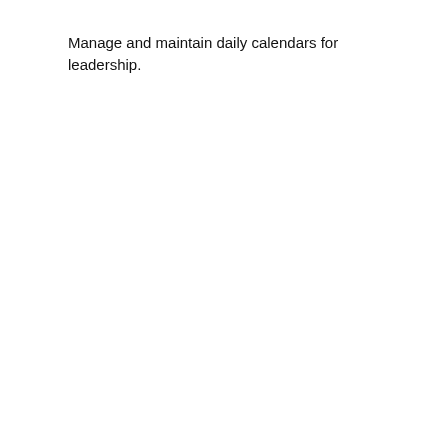Manage and maintain daily calendars for leadership.